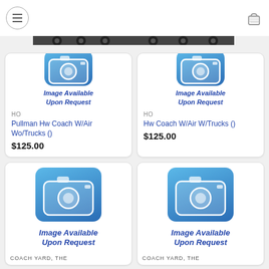[Figure (photo): Black and white photo of train locomotives in the header banner]
[Figure (illustration): Image Available Upon Request placeholder with camera icon - top left product]
HO
Pullman Hw Coach W/Air Wo/Trucks ()
$125.00
[Figure (illustration): Image Available Upon Request placeholder with camera icon - top right product]
HO
Hw Coach W/Air W/Trucks ()
$125.00
[Figure (illustration): Image Available Upon Request placeholder with camera icon - bottom left product]
COACH YARD, THE
[Figure (illustration): Image Available Upon Request placeholder with camera icon - bottom right product]
COACH YARD, THE